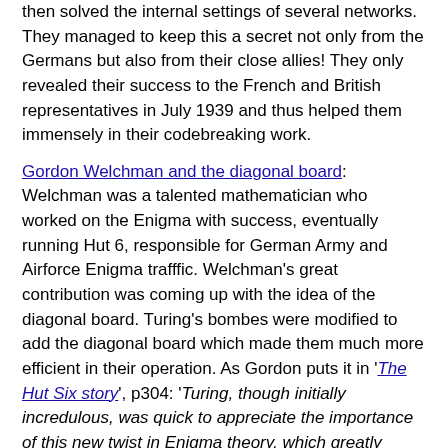then solved the internal settings of several networks. They managed to keep this a secret not only from the Germans but also from their close allies! They only revealed their success to the French and British representatives in July 1939 and thus helped them immensely in their codebreaking work.
Gordon Welchman and the diagonal board: Welchman was a talented mathematician who worked on the Enigma with success, eventually running Hut 6, responsible for German Army and Airforce Enigma trafffic. Welchman's great contribution was coming up with the idea of the diagonal board. Turing's bombes were modified to add the diagonal board which made them much more efficient in their operation. As Gordon puts it in 'The Hut Six story', p304: 'Turing, though initially incredulous, was quick to appreciate the importance of this new twist in Enigma theory, which greatly reduced the number of bombe runs that would be needed to ensure success in breaking an Enigma key by means of a crib'
Naval Enigma – Lofoten raid: By 1940 the British codebreakers were routinely solving current Enigma traffic